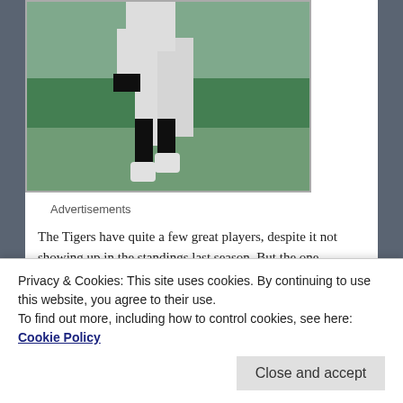[Figure (photo): Baseball player in motion, showing legs and lower body in white uniform with black details, green stadium background]
Advertisements
The Tigers have quite a few great players, despite it not showing up in the standings last season. But the one player that is an absolute Hall of Fame player is Miguel Cabrera. The former Triple Crown winner is simply one of
Privacy & Cookies: This site uses cookies. By continuing to use this website, you agree to their use.
To find out more, including how to control cookies, see here: Cookie Policy